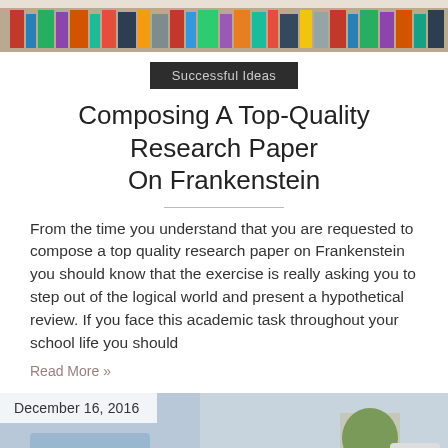[Figure (photo): Top portion of a library/bookshelf image, cropped at the bottom]
Successful Ideas
Composing A Top-Quality Research Paper On Frankenstein
From the time you understand that you are requested to compose a top quality research paper on Frankenstein you should know that the exercise is really asking you to step out of the logical world and present a hypothetical review. If you face this academic task throughout your school life you should
Read More »
[Figure (photo): December 16, 2016 dated article thumbnail showing a person in a blue shirt, a plant, and a tablet on a desk]